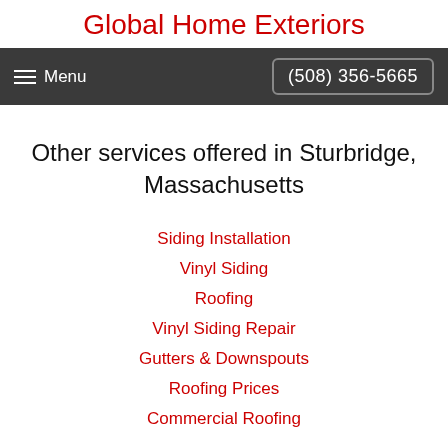Global Home Exteriors
Menu  (508) 356-5665
Other services offered in Sturbridge, Massachusetts
Siding Installation
Vinyl Siding
Roofing
Vinyl Siding Repair
Gutters & Downspouts
Roofing Prices
Commercial Roofing